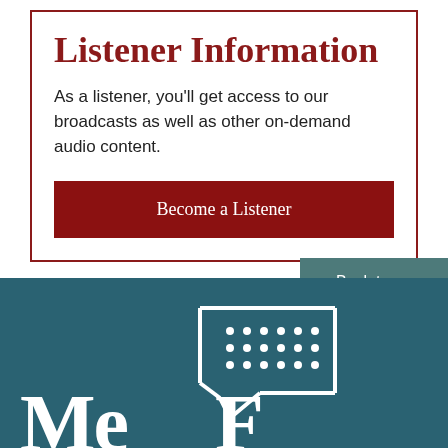Listener Information
As a listener, you'll get access to our broadcasts as well as other on-demand audio content.
Become a Listener
Back to Top
[Figure (logo): Media Fire or similar organization logo with braille-like dot pattern inside a speech bubble/lightning bolt shape on teal background, with partial large serif text at bottom]